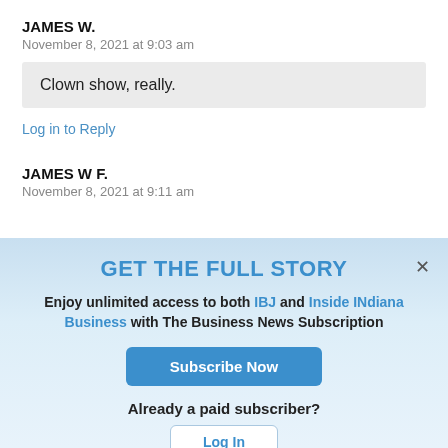JAMES W.
November 8, 2021 at 9:03 am
Clown show, really.
Log in to Reply
JAMES W F.
November 8, 2021 at 9:11 am
GET THE FULL STORY
Enjoy unlimited access to both IBJ and Inside INdiana Business with The Business News Subscription
Subscribe Now
Already a paid subscriber?
Log In